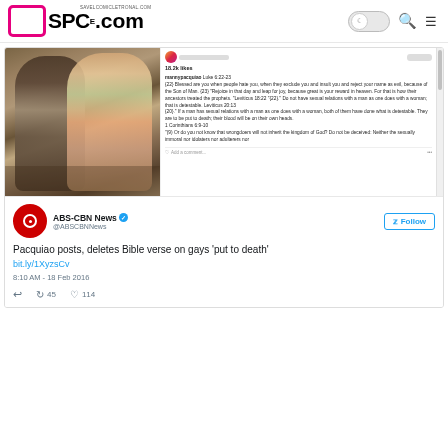OSPC.com SAVELCOMICLETRONAL.COM
[Figure (screenshot): Instagram screenshot showing a photo of two people (Manny Pacquiao and his wife) dining, alongside a post by mannypacquiao quoting Bible verses including Luke 6:22-23, Leviticus 18:22, Leviticus 20:13, and 1 Corinthians 6:9-10, with 18.2k likes.]
[Figure (screenshot): Embedded tweet from @ABSCBNNews (ABS-CBN News verified account) with Follow button. Tweet text: 'Pacquiao posts, deletes Bible verse on gays put to death' with link bit.ly/1XyzsCv, posted at 8:10 AM - 18 Feb 2016, with 45 retweets and 114 likes.]